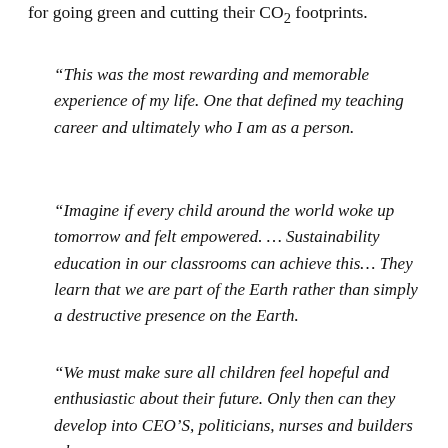for going green and cutting their CO2 footprints.
“This was the most rewarding and memorable experience of my life. One that defined my teaching career and ultimately who I am as a person.
“Imagine if every child around the world woke up tomorrow and felt empowered. … Sustainability education in our classrooms can achieve this… They learn that we are part of the Earth rather than simply a destructive presence on the Earth.
“We must make sure all children feel hopeful and enthusiastic about their future. Only then can they develop into CEO’S, politicians, nurses and builders who are